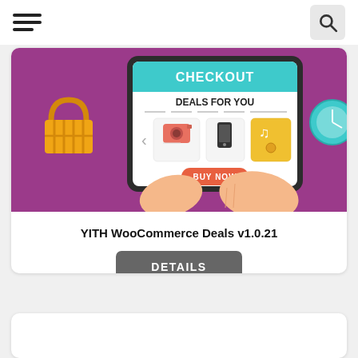[Figure (illustration): WooCommerce Deals promotional illustration showing hands holding a tablet with a checkout screen displaying 'CHECKOUT - DEALS FOR YOU' and product images (camera, phone, music player) with a 'BUY NOW' button, shopping basket on left and clock on right]
YITH WooCommerce Deals v1.0.21
DETAILS